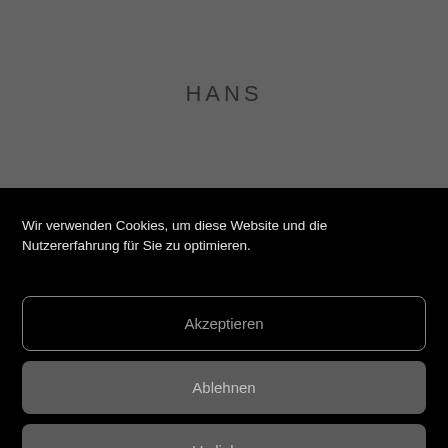[Figure (screenshot): Dark grey background top section of a website with the text HANS centered]
HANS
Wir verwenden Cookies, um diese Website und die Nutzererfahrung für Sie zu optimieren.
Akzeptieren
Ablehnen
Vorlieben